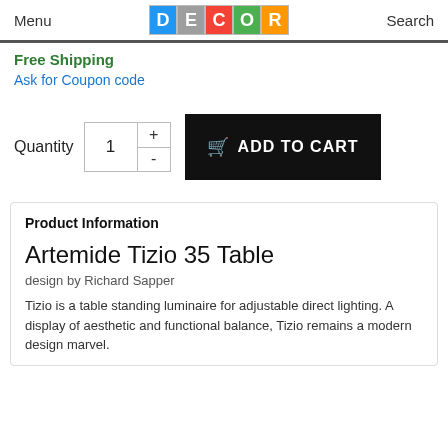Menu | DECOR | Search
Free Shipping
Ask for Coupon code
Quantity 1 + - ADD TO CART
Product Information
Artemide Tizio 35 Table
design by Richard Sapper
Tizio is a table standing luminaire for adjustable direct lighting. A display of aesthetic and functional balance, Tizio remains a modern design marvel.